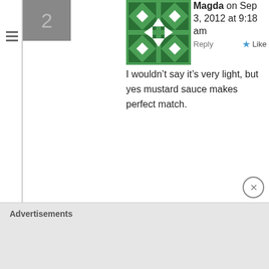Magda on Sep 3, 2012 at 9:18 am  Reply  Like
I wouldn’t say it’s very light, but yes mustard sauce makes perfect match.
Rambling Tart on Sep 3, 2012 at 12:50 am  Reply  Like
My father is from Denmark so I grew up eating herring (usually pickled) at every family celebration. 🙂 I actually don’t care for them too much pickled, but I would like them with this mustard sauce for sure. 🙂
Advertisements